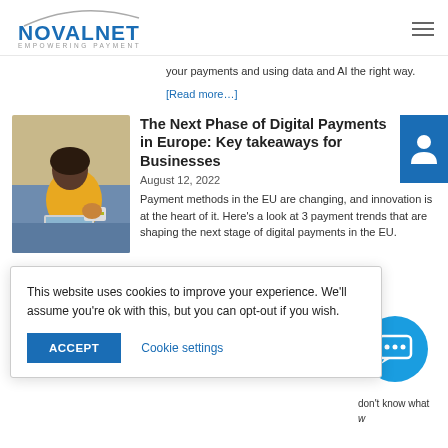NOVALNET Empowering Payment
your payments and using data and AI the right way.
[Read more…]
The Next Phase of Digital Payments in Europe: Key takeaways for Businesses
August 12, 2022
Payment methods in the EU are changing, and innovation is at the heart of it. Here's a look at 3 payment trends that are shaping the next stage of digital payments in the EU.
[Figure (photo): Woman in yellow sweater sitting on sofa using laptop and holding credit card]
This website uses cookies to improve your experience. We'll assume you're ok with this, but you can opt-out if you wish.
ACCEPT
Cookie settings
don't know what w